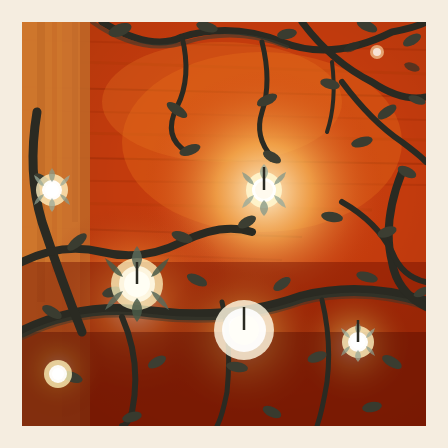[Figure (photo): Interior photograph looking up at a wooden ceiling of a log cabin or rustic building. Decorative wrought iron branches and vines spread across the ceiling with metal leaf shapes attached. Several light fixtures shaped like flowers or buds hang from the branches, some illuminated with bright white light. The warm reddish-brown wood of the ceiling planks contrasts with the dark metal branches. A large wooden post/beam is visible on the left side.]